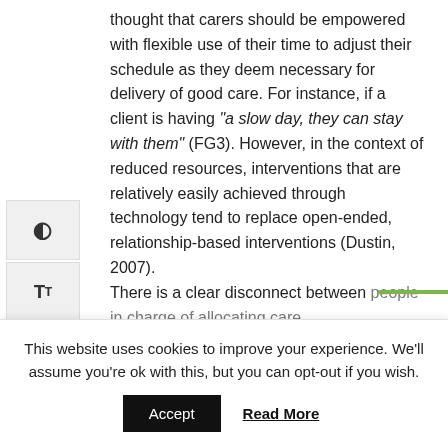thought that carers should be empowered with flexible use of their time to adjust their schedule as they deem necessary for delivery of good care. For instance, if a client is having “a slow day, they can stay with them” (FG3). However, in the context of reduced resources, interventions that are relatively easily achieved through technology tend to replace open-ended, relationship-based interventions (Dustin, 2007). There is a clear disconnect between people in charge of allocating care...
This website uses cookies to improve your experience. We'll assume you're ok with this, but you can opt-out if you wish.